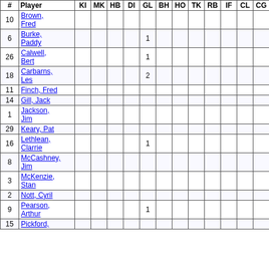| # | Player | KI | MK | HB | DI | GL | BH | HO | TK | RB | IF | CL | CG | FF | FA | BR | CP |
| --- | --- | --- | --- | --- | --- | --- | --- | --- | --- | --- | --- | --- | --- | --- | --- | --- | --- |
| 10 | Brown, Fred |  |  |  |  |  |  |  |  |  |  |  |  |  |  |  |  |
| 6 | Burke, Paddy |  |  |  |  | 1 |  |  |  |  |  |  |  |  |  |  |  |
| 26 | Calwell, Bert |  |  |  |  | 1 |  |  |  |  |  |  |  |  |  |  |  |
| 18 | Carbarns, Les |  |  |  |  | 2 |  |  |  |  |  |  |  |  |  |  |  |
| 11 | Finch, Fred |  |  |  |  |  |  |  |  |  |  |  |  |  |  |  |  |
| 14 | Gill, Jack |  |  |  |  |  |  |  |  |  |  |  |  |  |  |  |  |
| 1 | Jackson, Jim |  |  |  |  |  |  |  |  |  |  |  |  |  |  |  |  |
| 29 | Keary, Pat |  |  |  |  |  |  |  |  |  |  |  |  |  |  |  |  |
| 16 | Lethlean, Clarrie |  |  |  |  | 1 |  |  |  |  |  |  |  |  |  |  |  |
| 8 | McCashney, Jim |  |  |  |  |  |  |  |  |  |  |  |  |  |  |  |  |
| 3 | McKenzie, Stan |  |  |  |  |  |  |  |  |  |  |  |  |  |  |  |  |
| 2 | Nott, Cyril |  |  |  |  |  |  |  |  |  |  |  |  |  |  |  |  |
| 9 | Pearson, Arthur |  |  |  |  | 1 |  |  |  |  |  |  |  |  |  |  |  |
| 15 | Pickford, |  |  |  |  |  |  |  |  |  |  |  |  |  |  |  |  |